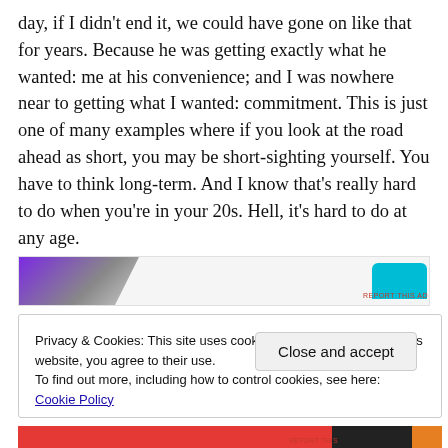day, if I didn't end it, we could have gone on like that for years. Because he was getting exactly what he wanted: me at his convenience; and I was nowhere near to getting what I wanted: commitment. This is just one of many examples where if you look at the road ahead as short, you may be short-sighting yourself. You have to think long-term. And I know that's really hard to do when you're in your 20s. Hell, it's hard to do at any age.
[Figure (other): Advertisement banner with purple gradient shape on left and cyan rounded shape on right, with 'REPORT THIS AD' label]
Privacy & Cookies: This site uses cookies. By continuing to use this website, you agree to their use.
To find out more, including how to control cookies, see here: Cookie Policy
Close and accept